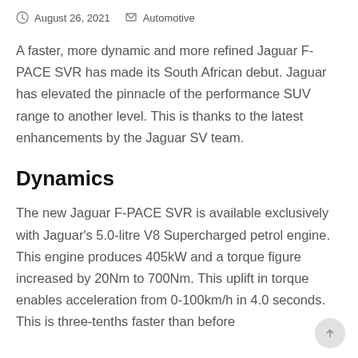August 26, 2021  Automotive
A faster, more dynamic and more refined Jaguar F-PACE SVR has made its South African debut. Jaguar has elevated the pinnacle of the performance SUV range to another level. This is thanks to the latest enhancements by the Jaguar SV team.
Dynamics
The new Jaguar F-PACE SVR is available exclusively with Jaguar's 5.0-litre V8 Supercharged petrol engine. This engine produces 405kW and a torque figure increased by 20Nm to 700Nm. This uplift in torque enables acceleration from 0-100km/h in 4.0 seconds. This is three-tenths faster than before